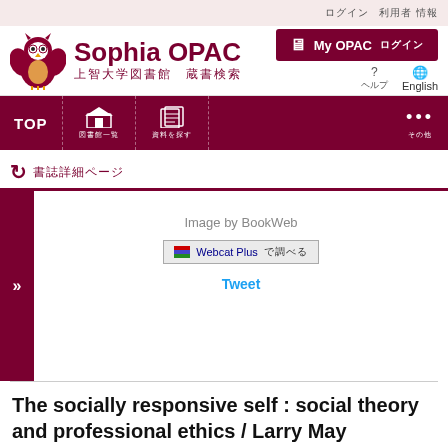ログイン 利用者 情報
[Figure (logo): Sophia OPAC library owl mascot logo with text: Sophia OPAC 上智大学図書館 蔵書検索]
My OPAC ログイン
ヘルプ English
TOP 図書館一覧 資料を探す その他
› 書誌詳細ページ
Image by BookWeb
Webcat Plus で調べる
Tweet
The socially responsive self : social theory and professional ethics / Larry May
書誌情報 所蔵